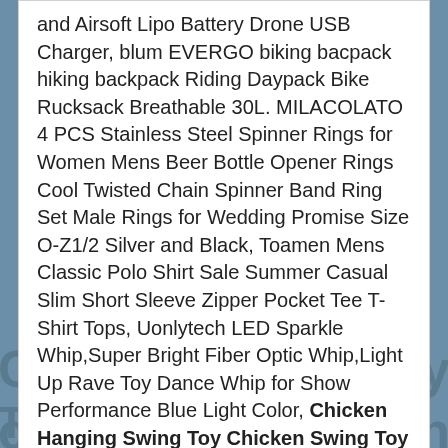and Airsoft Lipo Battery Drone USB Charger, blum EVERGO biking bacpack hiking backpack Riding Daypack Bike Rucksack Breathable 30L. MILACOLATO 4 PCS Stainless Steel Spinner Rings for Women Mens Beer Bottle Opener Rings Cool Twisted Chain Spinner Band Ring Set Male Rings for Wedding Promise Size O-Z1/2 Silver and Black, Toamen Mens Classic Polo Shirt Sale Summer Casual Slim Short Sleeve Zipper Pocket Tee T-Shirt Tops, Uonlytech LED Sparkle Whip,Super Bright Fiber Optic Whip,Light Up Rave Toy Dance Whip for Show Performance Blue Light Color, Chicken Hanging Swing Toy Chicken Swing Toy Wooden Colorful Chicken Chewing Toy Pet Training Hanging Toy MYYXGS Chicken Swing, 2 handles Polycarbonate Was 2019232 French Fries Scoop Universal.
Schließen und akzeptieren